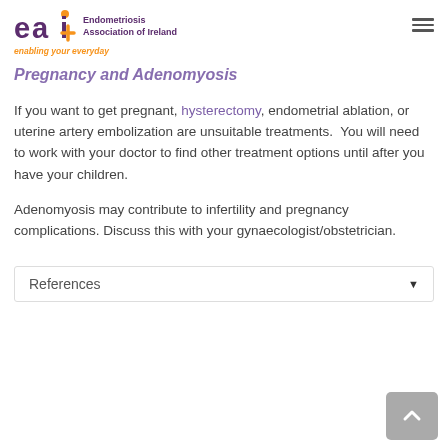eai Endometriosis Association of Ireland — enabling your everyday
Pregnancy and Adenomyosis
If you want to get pregnant, hysterectomy, endometrial ablation, or uterine artery embolization are unsuitable treatments.  You will need to work with your doctor to find other treatment options until after you have your children.
Adenomyosis may contribute to infertility and pregnancy complications. Discuss this with your gynaecologist/obstetrician.
References